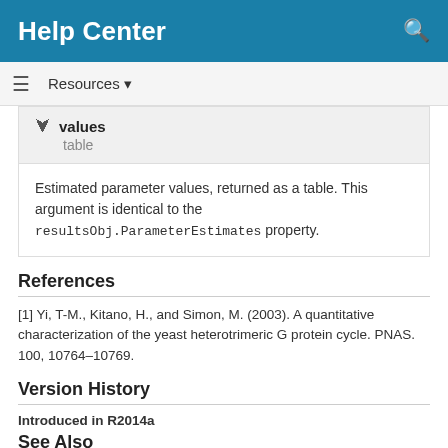Help Center
Resources ▾
values
table
Estimated parameter values, returned as a table. This argument is identical to the resultsObj.ParameterEstimates property.
References
[1] Yi, T-M., Kitano, H., and Simon, M. (2003). A quantitative characterization of the yeast heterotrimeric G protein cycle. PNAS. 100, 10764–10769.
Version History
Introduced in R2014a
See Also